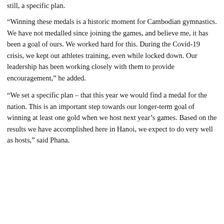still, a specific plan.
“Winning these medals is a historic moment for Cambodian gymnastics. We have not medalled since joining the games, and believe me, it has been a goal of ours. We worked hard for this. During the Covid-19 crisis, we kept out athletes training, even while locked down. Our leadership has been working closely with them to provide encouragement,” he added.
“We set a specific plan – that this year we would find a medal for the nation. This is an important step towards our longer-term goal of winning at least one gold when we host next year’s games. Based on the results we have accomplished here in Hanoi, we expect to do very well as hosts,” said Phana.